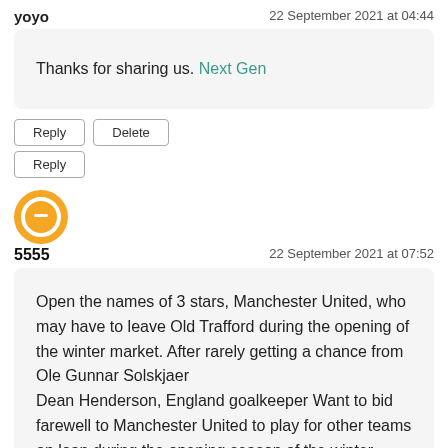yoyo
22 September 2021 at 04:44
Thanks for sharing us. Next Gen
Reply
Delete
Reply
5555
22 September 2021 at 07:52
Open the names of 3 stars, Manchester United, who may have to leave Old Trafford during the opening of the winter market. After rarely getting a chance from Ole Gunnar Solskjaer
Dean Henderson, England goalkeeper Want to bid farewell to Manchester United to play for other teams on loan during the opening season of the winter